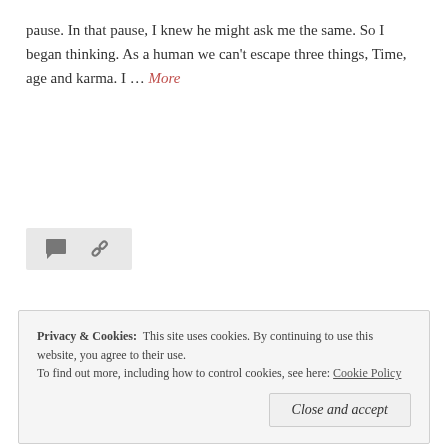pause. In that pause, I knew he might ask me the same. So I began thinking. As a human we can't escape three things, Time, age and karma. I ... More
[Figure (other): Icon bar with a speech bubble comment icon and a chain link share icon on a light grey background]
Privacy & Cookies: This site uses cookies. By continuing to use this website, you agree to their use. To find out more, including how to control cookies, see here: Cookie Policy
Close and accept